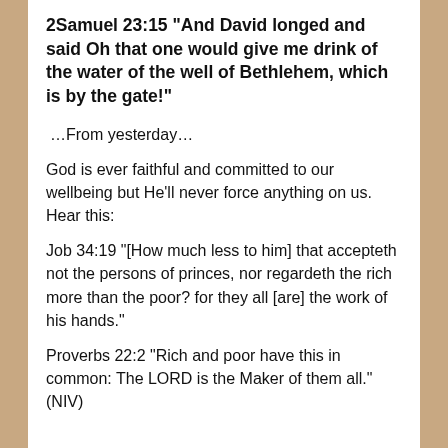2Samuel 23:15 “And David longed and said Oh that one would give me drink of the water of the well of Bethlehem, which is by the gate!”
…From yesterday…
God is ever faithful and committed to our wellbeing but He’ll never force anything on us. Hear this:
Job 34:19 “[How much less to him] that accepteth not the persons of princes, nor regardeth the rich more than the poor? for they all [are] the work of his hands.”
Proverbs 22:2 “Rich and poor have this in common: The LORD is the Maker of them all.”(NIV)